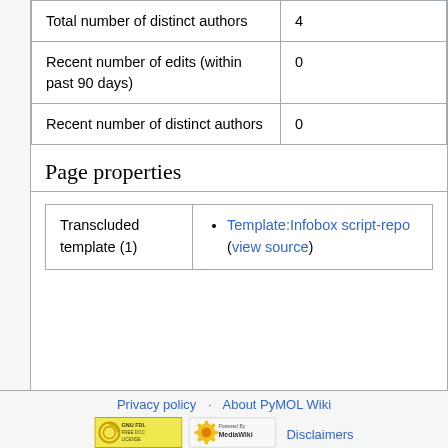| Total number of distinct authors | 4 |
| Recent number of edits (within past 90 days) | 0 |
| Recent number of distinct authors | 0 |
Page properties
| Transcluded template (1) | Template:Infobox script-repo (view source) |
Privacy policy · About PyMOL Wiki · Disclaimers